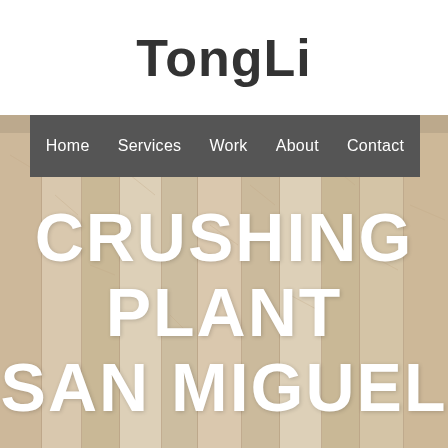TongLi
Home   Services   Work   About   Contact
[Figure (illustration): Wood plank textured background covering the lower three-quarters of the page, with vertical planks in light tan/beige tones]
CRUSHING PLANT SAN MIGUEL